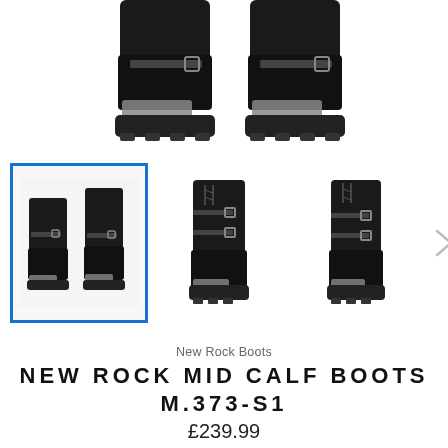[Figure (photo): Close-up of black New Rock mid-calf boots from above, showing chunky silver-tipped soles and buckle straps on white background]
[Figure (photo): Three thumbnail images of black New Rock mid-calf boots M.373-S1: first selected with blue border showing pair from front-side, second showing single boot side view, third showing single boot from another angle. Navigation chevron arrow on right.]
New Rock Boots
NEW ROCK MID CALF BOOTS M.373-S1
£239.99